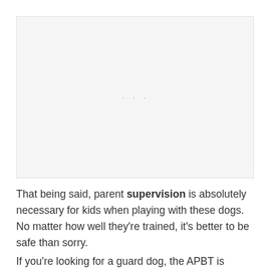[Figure (photo): Placeholder image area, likely a photo of dogs or children with dogs]
That being said, parent supervision is absolutely necessary for kids when playing with these dogs. No matter how well they're trained, it's better to be safe than sorry.
If you're looking for a guard dog, the APBT is